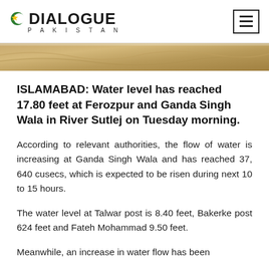DIALOGUE PAKISTAN
[Figure (photo): Partial view of flood water / muddy water, cropped hero image at top of article]
ISLAMABAD: Water level has reached 17.80 feet at Ferozpur and Ganda Singh Wala in River Sutlej on Tuesday morning.
According to relevant authorities, the flow of water is increasing at Ganda Singh Wala and has reached 37, 640 cusecs, which is expected to be risen during next 10 to 15 hours.
The water level at Talwar post is 8.40 feet, Bakerke post 624 feet and Fateh Mohammad 9.50 feet.
Meanwhile, an increase in water flow has been